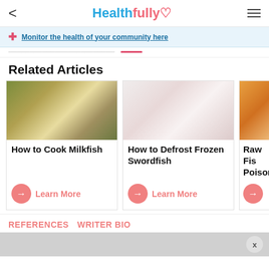Healthfully
Monitor the health of your community here
Related Articles
[Figure (photo): Cooked milkfish dish with rice and sides]
How to Cook Milkfish
Learn More
[Figure (photo): Frozen swordfish in plastic wrap]
How to Defrost Frozen Swordfish
Learn More
[Figure (photo): Raw salmon fish with lemon and herbs]
Raw Fish Poisoning
Learn More
REFERENCES   WRITER BIO